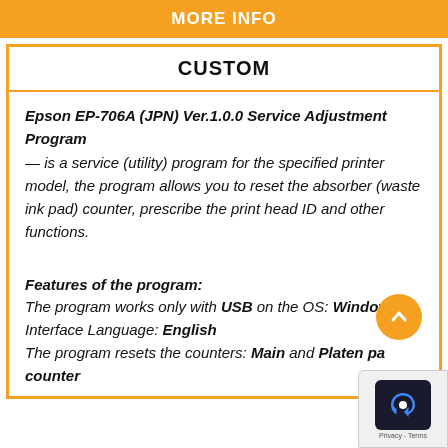MORE INFO
CUSTOM
Epson EP-706A (JPN) Ver.1.0.0 Service Adjustment Program — is a service (utility) program for the specified printer model, the program allows you to reset the absorber (waste ink pad) counter, prescribe the print head ID and other functions.
Features of the program:
The program works only with USB on the OS: Windows
Interface Language: English
The program resets the counters: Main and Platen pad counter